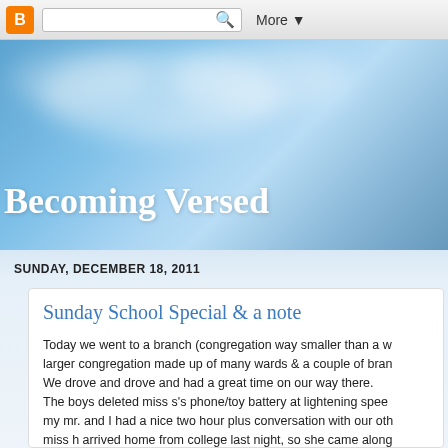B  [search]  More ▼
[Figure (illustration): Blog header banner with sky-blue gradient background and white cloud effects. Blog title 'Becoming Versed' in large white bold serif font.]
Becoming Versed
SUNDAY, DECEMBER 18, 2011
Sunday School Special & a note
Today we went to a branch (congregation way smaller than a w larger congregation made up of many wards & a couple of bran We drove and drove and had a great time on our way there. The boys deleted miss s's phone/toy battery at lightening spee my mr. and I had a nice two hour plus conversation with our oth miss h arrived home from college last night, so she came along She and miss s slept most of the way there. (We left a little after 7am because we had to pick up our travelin which street that traveling companion lived on, so we lost a littl